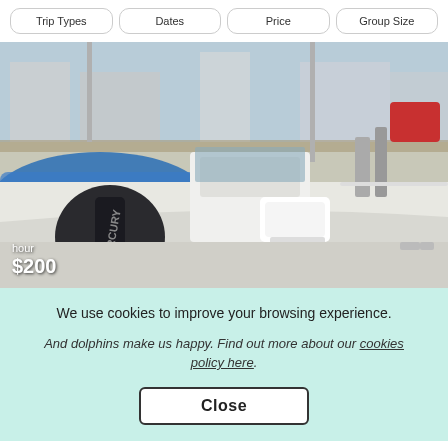Trip Types
Dates
Price
Group Size
[Figure (photo): A white motorboat with a Mercury outboard engine docked in a marina. The boat has white seats and a center console. Blue boat cover visible on adjacent boat. Various marina equipment in background.]
hour
$200
We use cookies to improve your browsing experience.
And dolphins make us happy. Find out more about our cookies policy here.
Close